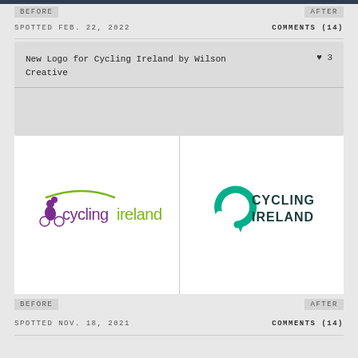BEFORE   AFTER
SPOTTED FEB. 22, 2022   COMMENTS (14)
New Logo for Cycling Ireland by Wilson Creative  ♥ 3
[Figure (logo): Old Cycling Ireland logo: purple cyclist icon with green arc, text 'cyclingireland' in purple and green]
[Figure (logo): New Cycling Ireland logo: teal circular arrow icon with bold dark teal text 'CYCLING IRELAND']
BEFORE   AFTER
SPOTTED NOV. 18, 2021   COMMENTS (14)